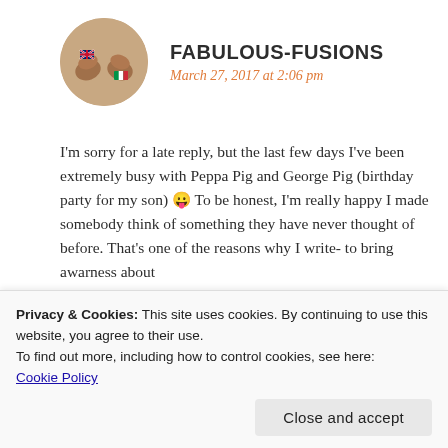[Figure (photo): Avatar image of two fists bumping with flag tattoos (UK and Italian flags)]
FABULOUS-FUSIONS
March 27, 2017 at 2:06 pm
I'm sorry for a late reply, but the last few days I've been extremely busy with Peppa Pig and George Pig (birthday party for my son) 😛 To be honest, I'm really happy I made somebody think of something they have never thought of before. That's one of the reasons why I write- to bring awarness about
Privacy & Cookies: This site uses cookies. By continuing to use this website, you agree to their use.
To find out more, including how to control cookies, see here:
Cookie Policy
Close and accept